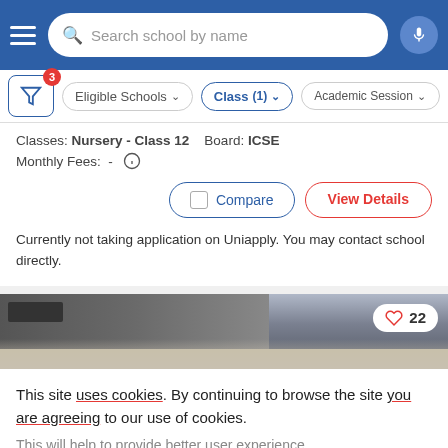[Figure (screenshot): Top navigation bar with hamburger menu, search bar reading 'Search school by name', and microphone button on blue background]
[Figure (screenshot): Filter row with filter icon showing badge '3', 'Eligible Schools' dropdown, 'Class (1)' active dropdown, and 'Academic Session' dropdown]
Classes: Nursery - Class 12   Board: ICSE
Monthly Fees:  -  ℹ
Compare
View Details
Currently not taking application on Uniapply. You may contact school directly.
[Figure (photo): Partial school interior photo showing ceiling and classroom, with heart icon and count '22' in top-right corner]
This site uses cookies. By continuing to browse the site you are agreeing to our use of cookies.
This will help to provide better user experience.
Ok, I Understand